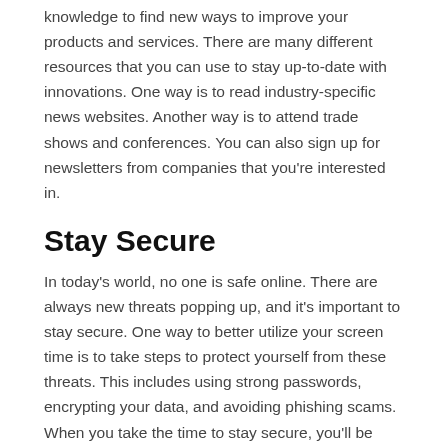knowledge to find new ways to improve your products and services. There are many different resources that you can use to stay up-to-date with innovations. One way is to read industry-specific news websites. Another way is to attend trade shows and conferences. You can also sign up for newsletters from companies that you're interested in.
Stay Secure
In today's world, no one is safe online. There are always new threats popping up, and it's important to stay secure. One way to better utilize your screen time is to take steps to protect yourself from these threats. This includes using strong passwords, encrypting your data, and avoiding phishing scams. When you take the time to stay secure, you'll be able to rest easy knowing that your information is safe. You can also use an antivirus program to protect your computer from malware. In addition, you should make sure to update